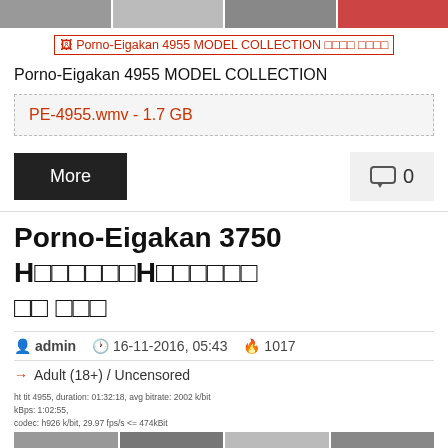[Figure (photo): Top strip of thumbnail images]
[Figure (other): Broken image placeholder with red text: Porno-Eigakan 4955 MODEL COLLECTION with Japanese characters]
Porno-Eigakan 4955 MODEL COLLECTION
PE-4955.wmv - 1.7 GB
More
0
Porno-Eigakan 3750 H　　　　　H
admin  16-11-2016, 05:43  1017
Adult (18+) / Uncensored
[Figure (photo): Small text info block and strip of thumbnail images at bottom]